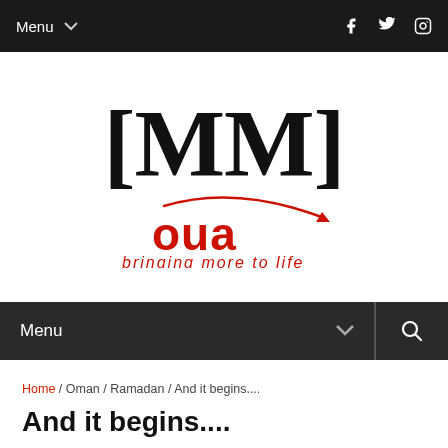Menu
[Figure (logo): [MM] logo with OUA bringing more to life branding]
Menu
Home / Oman / Ramadan / And it begins....
And it begins....